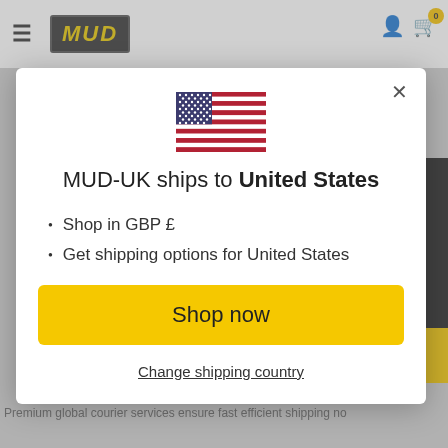[Figure (screenshot): MUD-UK website header with hamburger menu, MUD logo, user icon, and shopping cart with badge showing 0]
[Figure (illustration): United States flag emoji/icon centered above modal title]
MUD-UK ships to United States
Shop in GBP £
Get shipping options for United States
Shop now
Change shipping country
Fast Worldwide Shipping
Premium global courier services ensure fast efficient shipping no